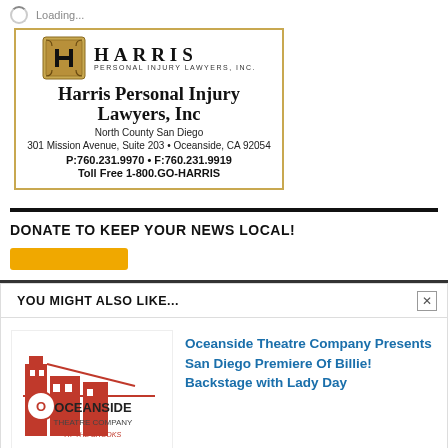Loading...
[Figure (logo): Harris Personal Injury Lawyers Inc. advertisement with gold emblem and contact information]
DONATE TO KEEP YOUR NEWS LOCAL!
[Figure (other): Yellow donate button]
YOU MIGHT ALSO LIKE...
[Figure (logo): Oceanside Theatre Company at The Brooks logo - red building silhouette]
Oceanside Theatre Company Presents San Diego Premiere Of Billie! Backstage with Lady Day